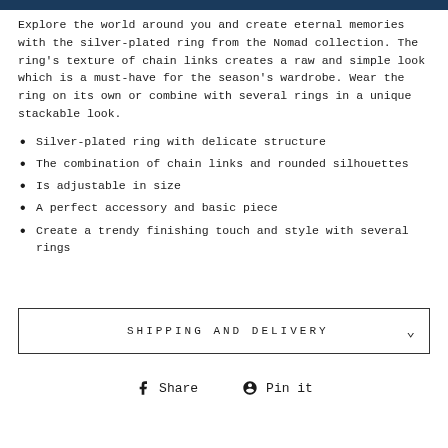Explore the world around you and create eternal memories with the silver-plated ring from the Nomad collection. The ring's texture of chain links creates a raw and simple look which is a must-have for the season's wardrobe. Wear the ring on its own or combine with several rings in a unique stackable look.
Silver-plated ring with delicate structure
The combination of chain links and rounded silhouettes
Is adjustable in size
A perfect accessory and basic piece
Create a trendy finishing touch and style with several rings
SHIPPING AND DELIVERY
Share   Pin it